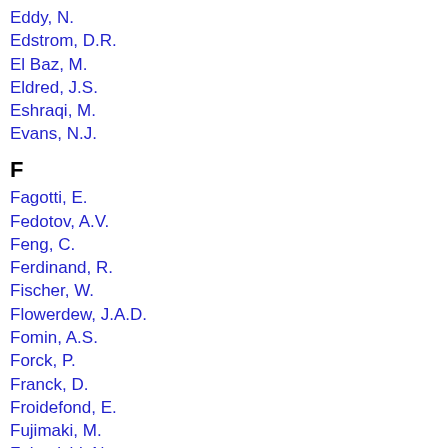Eddy, N.
Edstrom, D.R.
El Baz, M.
Eldred, J.S.
Eshraqi, M.
Evans, N.J.
F
Fagotti, E.
Fedotov, A.V.
Feng, C.
Ferdinand, R.
Fischer, W.
Flowerdew, J.A.D.
Fomin, A.S.
Forck, P.
Franck, D.
Froidefond, E.
Fujimaki, M.
Fukunishi, N.
Fukushima, K.
Furuseth, S.V.